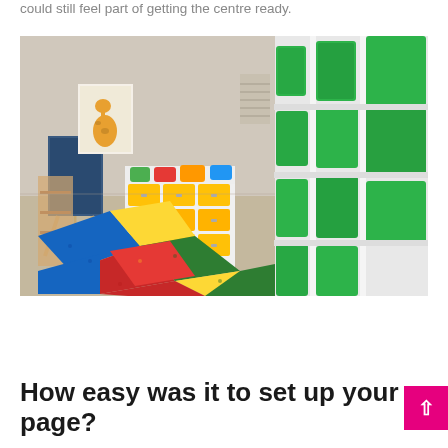could still feel part of getting the centre ready.
[Figure (photo): Interior of a children's nursery or daycare centre showing colourful foam play mats on the floor in red, yellow, blue and green, white storage units with yellow drawers and colourful cushions, a giraffe picture on the wall, a small chalkboard easel, and large green storage bins on white shelving in the foreground.]
How easy was it to set up your page?